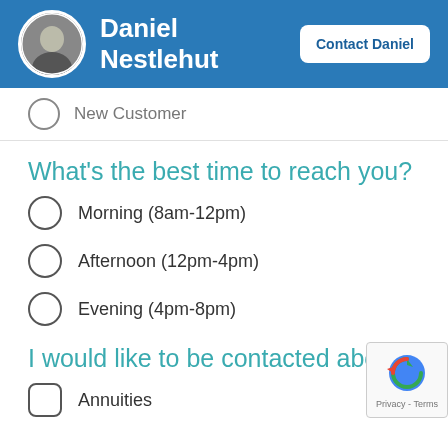Daniel Nestlehut | Contact Daniel
New Customer
What's the best time to reach you?
Morning (8am-12pm)
Afternoon (12pm-4pm)
Evening (4pm-8pm)
I would like to be contacted abo
Annuities